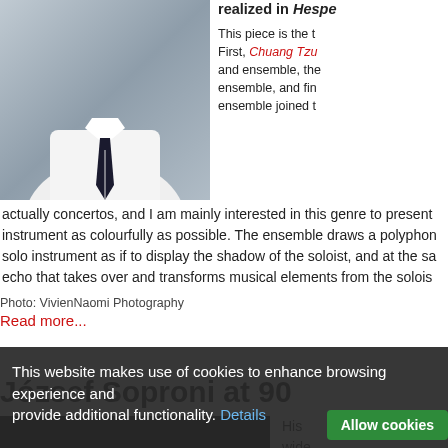[Figure (photo): Person in white shirt and dark tie, cropped torso/neck photo against gray background]
realized in Hespe...

This piece is the t... First, Chuang Tzu... and ensemble, the... ensemble, and fin... ensemble joined t...
actually concertos, and I am mainly interested in this genre to present instrument as colourfully as possible. The ensemble draws a polyphon solo instrument as if to display the shadow of the soloist, and at the sa echo that takes over and transforms musical elements from the solois...
Photo: VivienNaomi Photography
Read more...
József Soproni at 90
This website makes use of cookies to enhance browsing experience and provide additional functionality. Details
[Figure (screenshot): Dark video thumbnail]
His wide...